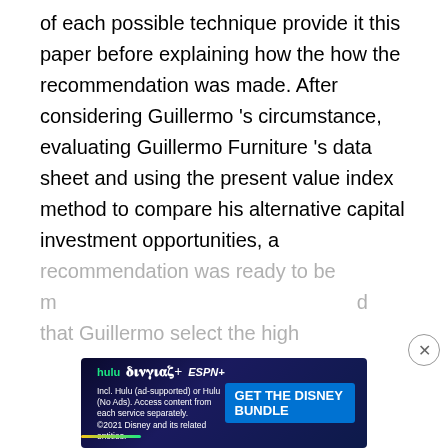of each possible technique provide it this paper before explaining how the how the recommendation was made. After considering Guillermo 's circumstance, evaluating Guillermo Furniture 's data sheet and using the present value index method to compare his alternative capital investment opportunities, a recommendation was ready to be m... that Guillermo select the high
[Figure (other): Hulu / Disney+ / ESPN+ advertisement banner reading 'GET THE DISNEY BUNDLE'. Incl. Hulu (ad-supported) or Hulu (No Ads). Access content from each service separately. ©2021 Disney and its related entities.]